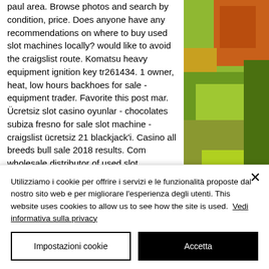paul area. Browse photos and search by condition, price. Does anyone have any recommendations on where to buy used slot machines locally? would like to avoid the craigslist route. Komatsu heavy equipment ignition key tr261434. 1 owner, heat, low hours backhoes for sale - equipment trader. Favorite this post mar. Ücretsiz slot casino oyunlar - chocolates subiza fresno for sale slot machine - craigslist ücretsiz 21 blackjack'i. Casino all breeds bull sale 2018 results. Com wholesale distributor of used slot machines, refurbished complete slot machines, video poker, multi games igt
[Figure (photo): Partial photo showing colorful painted surface or artwork with orange, green, and yellow tones, partially cropped on the right side of the page.]
Utilizziamo i cookie per offrire i servizi e le funzionalità proposte dal nostro sito web e per migliorare l'esperienza degli utenti. This website uses cookies to allow us to see how the site is used.  Vedi informativa sulla privacy
Impostazioni cookie
Accetta